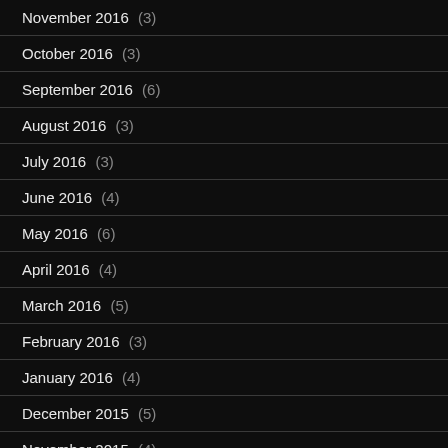November 2016 (3)
October 2016 (3)
September 2016 (6)
August 2016 (3)
July 2016 (3)
June 2016 (4)
May 2016 (6)
April 2016 (4)
March 2016 (5)
February 2016 (3)
January 2016 (4)
December 2015 (5)
November 2015 (4)